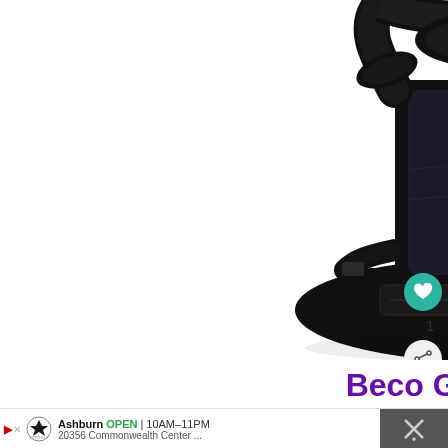[Figure (photo): Black Beco Gemini Baby carrier product photo on white background, showing the front view of the carrier with padded waist belt, shoulder straps crossing in the back, padded body panel, and a small gold label tag on the upper right strap area.]
Beco Gemini Baby
[Figure (screenshot): Advertisement bar for Topgolf showing: navigation arrows, Topgolf logo, 'Ashburn OPEN 10AM-11PM', '20356 Commonwealth Center ...' and a blue navigation arrow icon and a close/menu icon section on the right.]